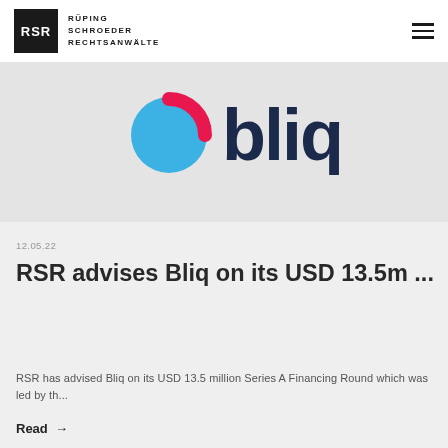RSR RÜPING SCHROEDER RECHTSANWÄLTE
[Figure (logo): Bliq company logo with blue and pink/red circle icon and dark blue 'bliq' text on light grey background]
12.05.22
RSR advises Bliq on its USD 13.5m ...
RSR has advised Bliq on its USD 13.5 million Series A Financing Round which was led by th...
Read →